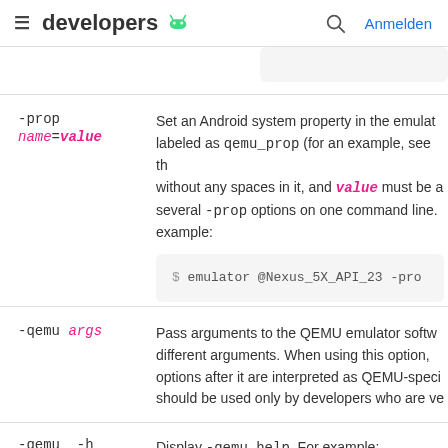developers  Anmelden
Set an Android system property in the emulator, labeled as qemu_prop (for an example, see th without any spaces in it, and value must be a several -prop options on one command line. example:
$ emulator @Nexus_5X_API_23 -pro
-qemu args  Pass arguments to the QEMU emulator softw different arguments. When using this option, options after it are interpreted as QEMU-speci should be used only by developers who are ve
-qemu -h  Display -qemu help. For example: